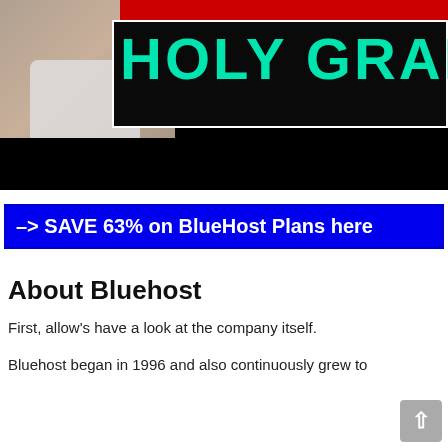[Figure (photo): Promotional banner image showing a man in a white t-shirt on the left side, with a black background and the text 'HOLY GRAIL' in large teal/cyan letters on a dark banner with a red stripe above.]
–> SAVE 63% on BlueHost Plans here
About Bluehost
First, allow's have a look at the company itself.
Bluehost began in 1996 and also continuously grew to